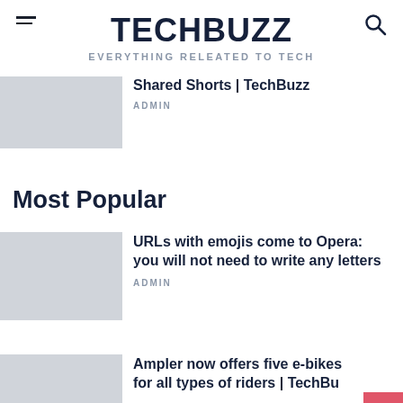TECHBUZZ — EVERYTHING RELEATED TO TECH
Shared Shorts | TechBuzz
ADMIN
Most Popular
URLs with emojis come to Opera: you will not need to write any letters
ADMIN
Ampler now offers five e-bikes for all types of riders | TechBu...